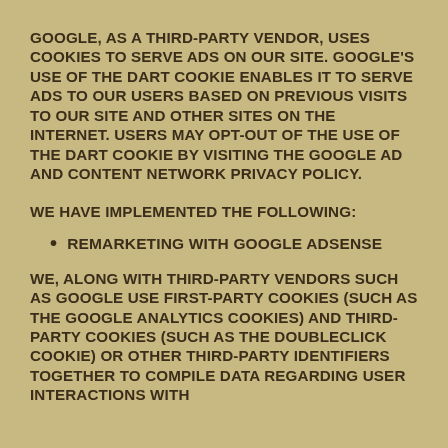Google, as a third-party vendor, uses cookies to serve ads on our site. Google's use of the DART cookie enables it to serve ads to our users based on previous visits to our site and other sites on the internet. Users may opt-out of the use of the DART cookie by visiting the Google ad and content network privacy policy.
We have implemented the following:
Remarketing with Google AdSense
We, along with third-party vendors such as Google use first-party cookies (such as the Google Analytics cookies) and third-party cookies (such as the DoubleClick cookie) or other third-party identifiers together to compile data regarding user interactions with